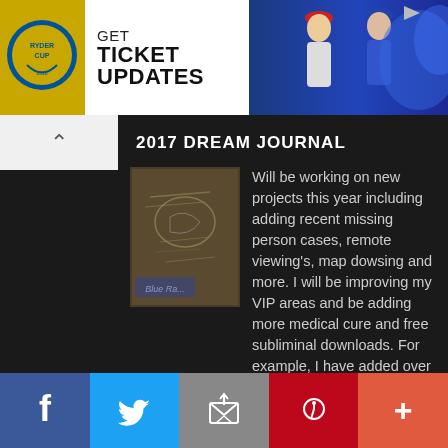[Figure (photo): Ryder Cup advertisement banner with logo, GET TICKET UPDATES text, and golfer photos]
2017 DREAM JOURNAL
[Figure (photo): Hand-drawn sketch or dream journal image]
Will be working on new projects this year including adding recent missing person cases, remote viewing's, map dowsing and more. I will be improving my VIP areas and be adding more medical cure and free subliminal downloads. For example, I have added over 200 pages of new psychic work to the Madeleine McCann missing child case and over 400 new documents that can not be found anywhere else on the web!